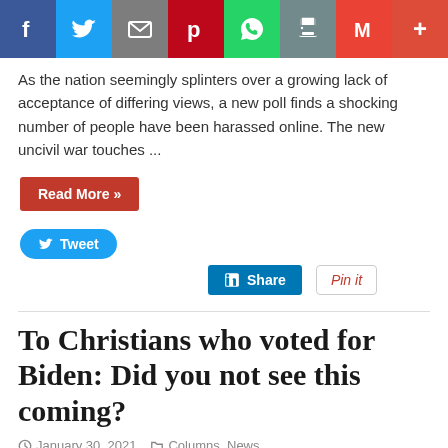[Figure (other): Social media share bar with icons for Facebook, Twitter, Email, Pinterest, WhatsApp, Print, Gmail, and plus button]
As the nation seemingly splinters over a growing lack of acceptance of differing views, a new poll finds a shocking number of people have been harassed online. The new uncivil war touches ...
Read More »
Tweet
Share
Pin it
To Christians who voted for Biden: Did you not see this coming?
January 30, 2021    Columns, News